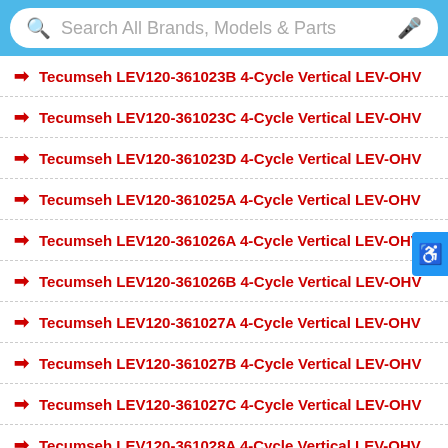[Figure (screenshot): Search bar with magnifying glass icon, placeholder text 'Search All Brands, Models & Parts', and microphone icon, styled with blue rounded border]
→ Tecumseh LEV120-361023B 4-Cycle Vertical LEV-OHV
→ Tecumseh LEV120-361023C 4-Cycle Vertical LEV-OHV
→ Tecumseh LEV120-361023D 4-Cycle Vertical LEV-OHV
→ Tecumseh LEV120-361025A 4-Cycle Vertical LEV-OHV
→ Tecumseh LEV120-361026A 4-Cycle Vertical LEV-OHV
→ Tecumseh LEV120-361026B 4-Cycle Vertical LEV-OHV
→ Tecumseh LEV120-361027A 4-Cycle Vertical LEV-OHV
→ Tecumseh LEV120-361027B 4-Cycle Vertical LEV-OHV
→ Tecumseh LEV120-361027C 4-Cycle Vertical LEV-OHV
→ Tecumseh LEV120-361028A 4-Cycle Vertical LEV-OHV
→ Tecumseh LEV120-361028B 4-Cycle Vertical LEV-OHV
→ Tecumseh LEV120-361028C 4-Cycle Vertical LEV-OHV